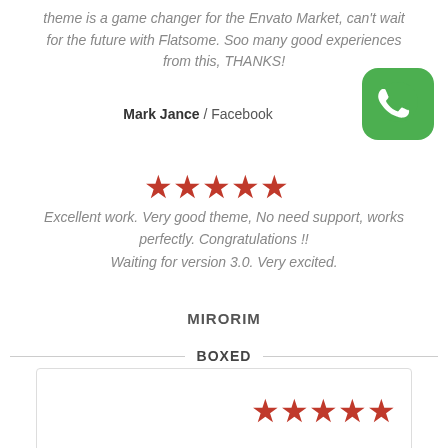theme is a game changer for the Envato Market, can't wait for the future with Flatsome. Soo many good experiences from this, THANKS!
Mark Jance / Facebook
[Figure (logo): WhatsApp green icon with phone handset]
[Figure (infographic): 5 red/orange stars rating]
Excellent work. Very good theme, No need support, works perfectly. Congratulations !! Waiting for version 3.0. Very excited.
MIRORIM
BOXED
[Figure (infographic): 5 red/orange stars rating inside boxed card]